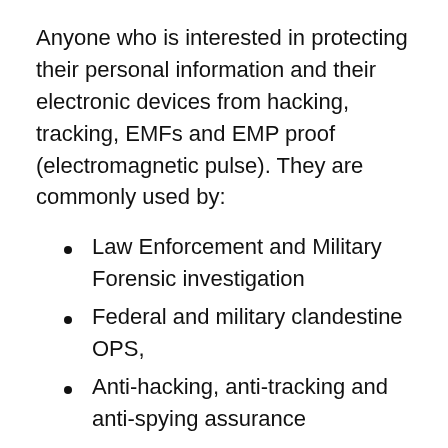Anyone who is interested in protecting their personal information and their electronic devices from hacking, tracking, EMFs and EMP proof (electromagnetic pulse). They are commonly used by:
Law Enforcement and Military Forensic investigation
Federal and military clandestine OPS,
Anti-hacking, anti-tracking and anti-spying assurance
Government and execution travel protection
They are used in secure facilities, device management and compliance and to prevent